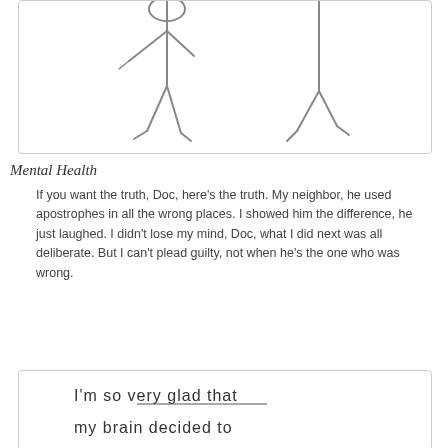[Figure (illustration): Stick figure drawings of two people standing]
Mental Health
If you want the truth, Doc, here's the truth. My neighbor, he used apostrophes in all the wrong places. I showed him the difference, he just laughed. I didn't lose my mind, Doc, what I did next was all deliberate. But I can't plead guilty, not when he's the one who was wrong.
[Figure (illustration): Handwritten text reading: I'm so very glad that my brain decided to]